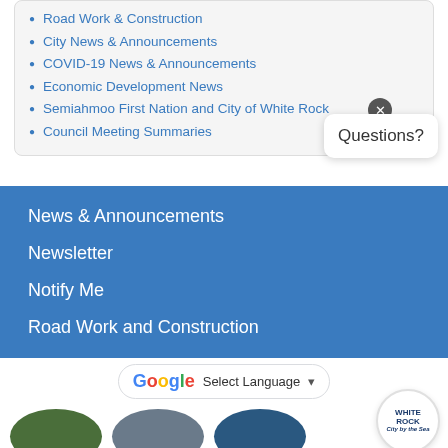Road Work & Construction
City News & Announcements
COVID-19 News & Announcements
Economic Development News
Semiahmoo First Nation and City of White Rock
Council Meeting Summaries
News & Announcements
Newsletter
Notify Me
Road Work and Construction
Questions?
Select Language
[Figure (logo): White Rock City by the Sea logo, circular badge]